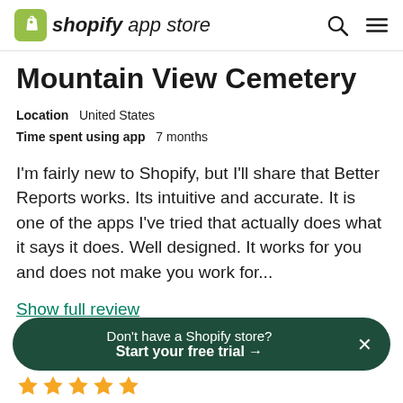shopify app store
Mountain View Cemetery
Location   United States
Time spent using app   7 months
I'm fairly new to Shopify, but I'll share that Better Reports works. Its intuitive and accurate. It is one of the apps I've tried that actually does what it says it does. Well designed. It works for you and does not make you work for...
Show full review
Helpful (0)
Don't have a Shopify store? Start your free trial →